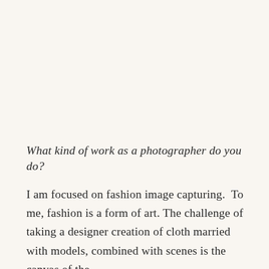What kind of work as a photographer do you do?
I am focused on fashion image capturing. To me, fashion is a form of art. The challenge of taking a designer creation of cloth married with models, combined with scenes is the canvas of the